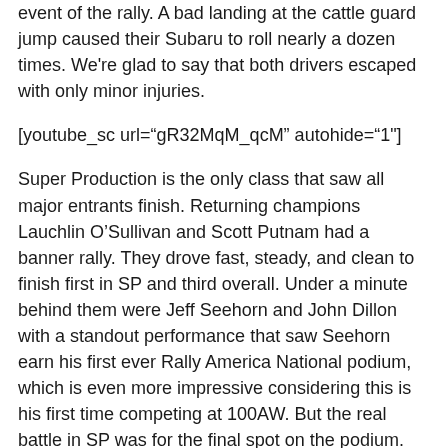event of the rally. A bad landing at the cattle guard jump caused their Subaru to roll nearly a dozen times. We're glad to say that both drivers escaped with only minor injuries.
[youtube_sc url="gR32MqM_qcM" autohide="1"]
Super Production is the only class that saw all major entrants finish. Returning champions Lauchlin O’Sullivan and Scott Putnam had a banner rally. They drove fast, steady, and clean to finish first in SP and third overall. Under a minute behind them were Jeff Seehorn and John Dillon with a standout performance that saw Seehorn earn his first ever Rally America National podium, which is even more impressive considering this is his first time competing at 100AW. But the real battle in SP was for the final spot on the podium. After suffering from a brake failure, Troy Miller pushed hard throughout Saturday, taking the position from Tino Fortunato to finish third in class.
The 2WD class was, by far, hit the hardest by the forces of